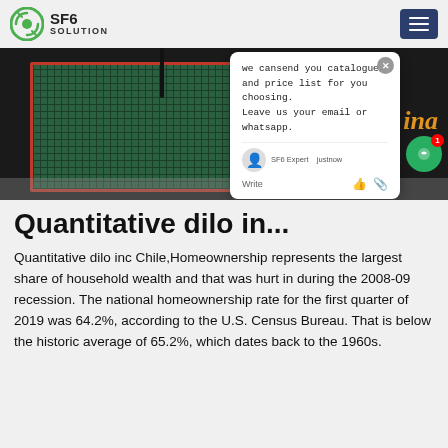SF6 SOLUTION
[Figure (photo): Industrial SF6 equipment/machine with green body and red frame, partial text 'ina' visible, with a chat popup overlay showing message about catalogue and price list.]
Quantitative dilo in...
Quantitative dilo inc Chile,Homeownership represents the largest share of household wealth and that was hurt in during the 2008-09 recession. The national homeownership rate for the first quarter of 2019 was 64.2%, according to the U.S. Census Bureau. That is below the historic average of 65.2%, which dates back to the 1960s.